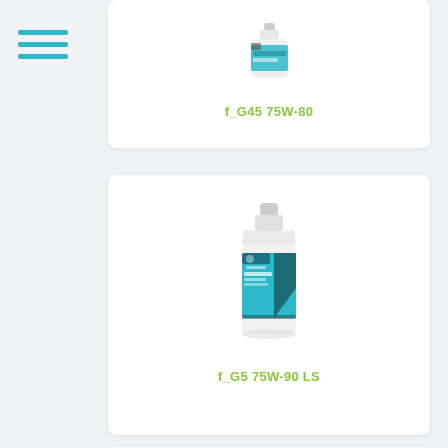[Figure (photo): Hamburger/navigation menu icon with three teal horizontal bars in the top-left area]
[Figure (photo): White plastic lubricant oil bottle with teal label showing f_G45 75W-80 product, partially visible at top of page]
f_G45 75W-80
[Figure (photo): White plastic lubricant oil bottle with teal and black label showing f_G5 75W-90 LS product]
f_G5 75W-90 LS